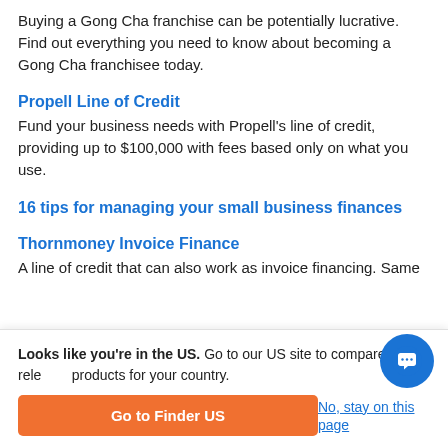Buying a Gong Cha franchise can be potentially lucrative. Find out everything you need to know about becoming a Gong Cha franchisee today.
Propell Line of Credit
Fund your business needs with Propell's line of credit, providing up to $100,000 with fees based only on what you use.
16 tips for managing your small business finances
Thornmoney Invoice Finance
A line of credit that can also work as invoice financing. Same
Looks like you're in the US. Go to our US site to compare relevant products for your country.
Go to Finder US
No, stay on this page